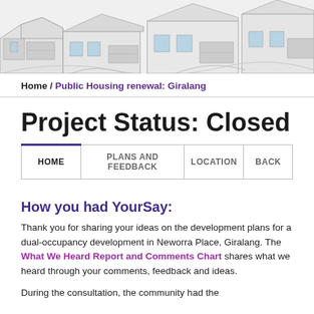[Figure (illustration): Architectural sketch/line drawing of residential buildings with rooftops, garages, and landscaping, shown from an elevated angle in grayscale.]
Home / Public Housing renewal: Giralang
Project Status: Closed
| HOME | PLANS AND FEEDBACK | LOCATION | BACK |
| --- | --- | --- | --- |
How you had YourSay:
Thank you for sharing your ideas on the development plans for a dual-occupancy development in Neworra Place, Giralang. The What We Heard Report and Comments Chart shares what we heard through your comments, feedback and ideas.
During the consultation, the community had the